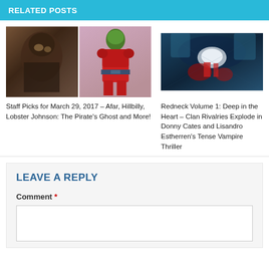RELATED POSTS
[Figure (illustration): Two comic book cover images side by side: left shows a dark creature/beast figure, right shows a red-suited character with green head]
Staff Picks for March 29, 2017 – Afar, Hillbilly, Lobster Johnson: The Pirate's Ghost and More!
[Figure (illustration): Comic book image showing a dark blue/teal scene with dramatic action]
Redneck Volume 1: Deep in the Heart – Clan Rivalries Explode in Donny Cates and Lisandro Estherren's Tense Vampire Thriller
LEAVE A REPLY
Comment *